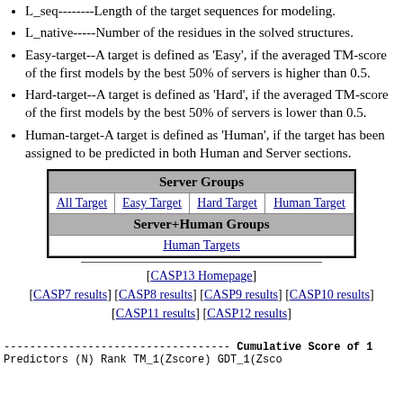L_seq--------Length of the target sequences for modeling.
L_native-----Number of the residues in the solved structures.
Easy-target--A target is defined as 'Easy', if the averaged TM-score of the first models by the best 50% of servers is higher than 0.5.
Hard-target--A target is defined as 'Hard', if the averaged TM-score of the first models by the best 50% of servers is lower than 0.5.
Human-target-A target is defined as 'Human', if the target has been assigned to be predicted in both Human and Server sections.
| Server Groups | All Target | Easy Target | Hard Target | Human Target | Server+Human Groups | Human Targets |
| --- | --- | --- | --- | --- | --- | --- |
[CASP13 Homepage]
[CASP7 results] [CASP8 results] [CASP9 results] [CASP10 results] [CASP11 results] [CASP12 results]
----------------------------------- Cumulative Score of 1
Predictors (N) Rank TM_1(Zscore) GDT_1(Zsco